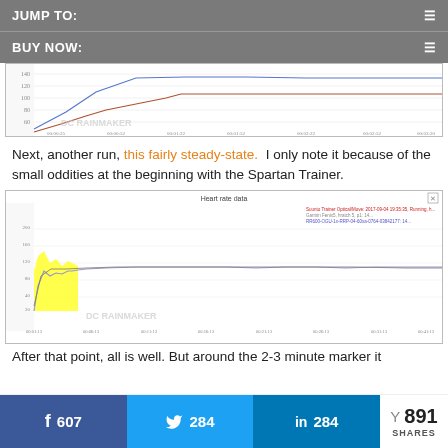JUMP TO:
BUY NOW:
[Figure (continuous-plot): Heart rate data line chart showing two overlapping lines (blue and red/brown) over time from approximately 00:00:25 to 00:03:20, with heart rate values on y-axis. DC Rainmaker watermark visible.]
Next, another run, this fairly steady-state.  I only note it because of the small oddities at the beginning with the Spartan Trainer.
[Figure (continuous-plot): Heart rate data line chart titled 'Heart rate data' showing steady-state run with yellow highlighted area at the beginning (~2-3 minute marker), two lines visible, legend in upper right. DC Rainmaker watermark visible. X-axis from 00:01:13 to 00:41:13 approx.]
After that point, all is well.  But around the 2-3 minute marker it
607
284
891 SHARES